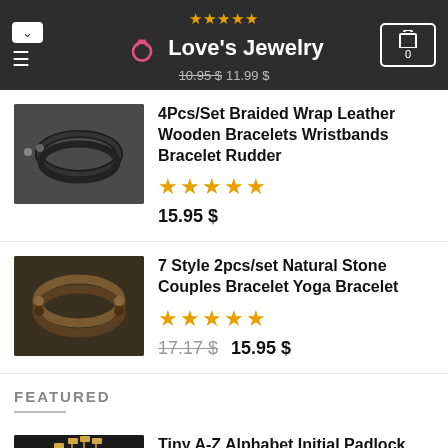Love's Jewelry — header with navigation, logo, stars, price, cart
4Pcs/Set Braided Wrap Leather Wooden Bracelets Wristbands Bracelet Rudder
★★★★★ 15.95 $
7 Style 2pcs/set Natural Stone Couples Bracelet Yoga Bracelet
★★★★★ 17.17 $ 15.95 $
FEATURED
Tiny A-Z Alphabet Initial Padlock Necklace Stainless Steel
11.99 $